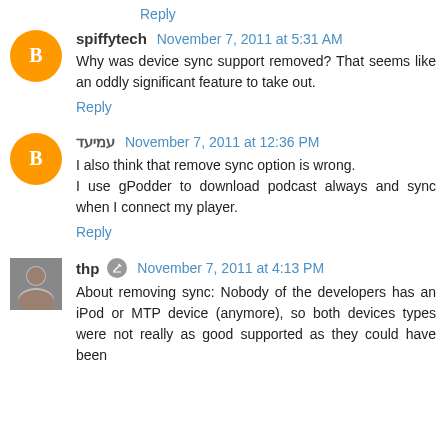Reply
spiffytech November 7, 2011 at 5:31 AM
Why was device sync support removed? That seems like an oddly significant feature to take out.
Reply
עמיעד November 7, 2011 at 12:36 PM
I also think that remove sync option is wrong.
I use gPodder to download podcast always and sync when I connect my player.
Reply
thp November 7, 2011 at 4:13 PM
About removing sync: Nobody of the developers has an iPod or MTP device (anymore), so both devices types were not really as good supported as they could have been